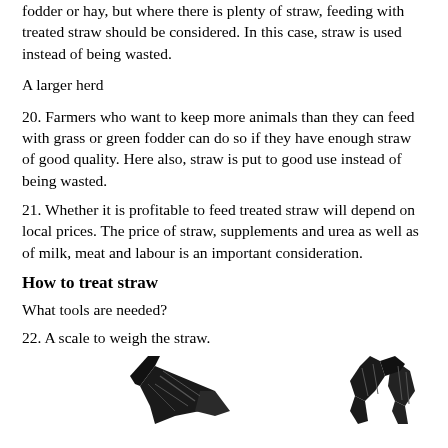fodder or hay, but where there is plenty of straw, feeding with treated straw should be considered. In this case, straw is used instead of being wasted.
A larger herd
20. Farmers who want to keep more animals than they can feed with grass or green fodder can do so if they have enough straw of good quality. Here also, straw is put to good use instead of being wasted.
21. Whether it is profitable to feed treated straw will depend on local prices. The price of straw, supplements and urea as well as of milk, meat and labour is an important consideration.
How to treat straw
What tools are needed?
22. A scale to weigh the straw.
[Figure (illustration): Partial illustration of tools or farm equipment, showing two partial images at bottom of page — left side shows a dark pointed/angled tool, right side shows dark irregular shapes resembling plant material or equipment.]